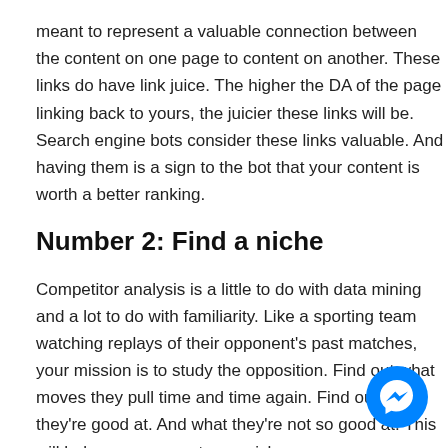meant to represent a valuable connection between the content on one page to content on another. These links do have link juice. The higher the DA of the page linking back to yours, the juicier these links will be. Search engine bots consider these links valuable. And having them is a sign to the bot that your content is worth a better ranking.
Number 2: Find a niche
Competitor analysis is a little to do with data mining and a lot to do with familiarity. Like a sporting team watching replays of their opponent's past matches, your mission is to study the opposition. Find out what moves they pull time and time again. Find out what they're good at. And what they're not so good at. This will help you carve out your niche.
If you're a small family law firm and your direct search competition is killing it in divorce law, then the onus is on you to
[Figure (other): Messenger chat button (blue circle with white messenger lightning bolt icon) in the bottom right corner]